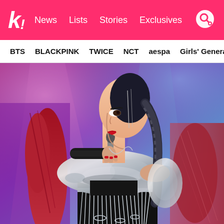koreaboo — News | Lists | Stories | Exclusives
BTS   BLACKPINK   TWICE   NCT   aespa   Girls' Generation
[Figure (photo): A K-pop female performer on stage wearing a silver sequined off-shoulder top, black crop top, silver chain fringe skirt, and black gloves, holding a microphone. She has braided hair. Other performers in red and patterned outfits are partially visible on either side. Stage lighting in purple and blue is visible in the background.]